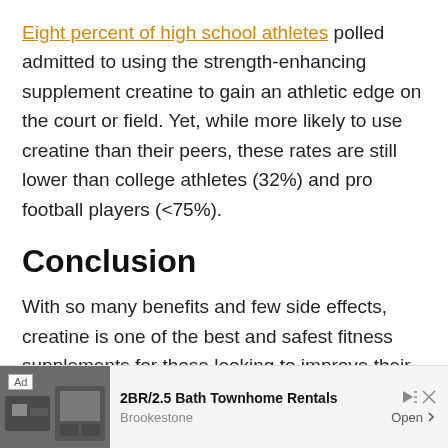Eight percent of high school athletes polled admitted to using the strength-enhancing supplement creatine to gain an athletic edge on the court or field. Yet, while more likely to use creatine than their peers, these rates are still lower than college athletes (32%) and pro football players (<75%).
Conclusion
With so many benefits and few side effects, creatine is one of the best and safest fitness supplements for those looking to improve their performance and sculpt aesthetic physiques
[Figure (other): Advertisement banner: 2BR/2.5 Bath Townhome Rentals by Brookestone with Open button]